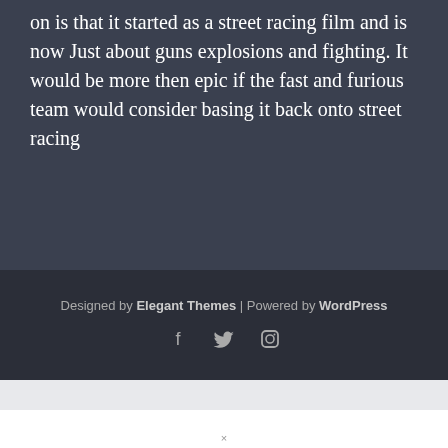on is that it started as a street racing film and is now Just about guns explosions and fighting. It would be more then epic if the fast and furious team would consider basing it back onto street racing
Designed by Elegant Themes | Powered by WordPress
[Figure (other): Social media icons: Facebook, Twitter, Instagram]